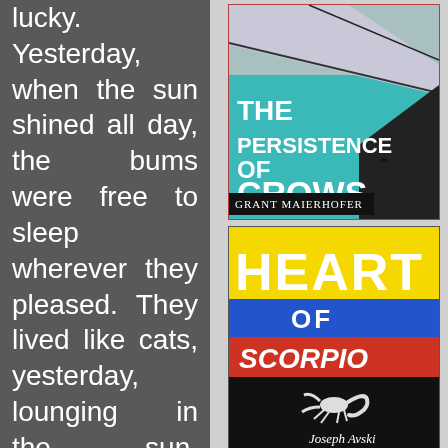lucky. Yesterday, when the sun shined all day, the bums were free to sleep wherever they pleased. They lived like cats, yesterday, lounging in the sun, moving only
[Figure (illustration): Book cover of 'The Persistence of Crows' by Grant Maierhofer. Features a geometric interior scene in teal/cyan and gray tones with the title in white bold text.]
[Figure (illustration): Book cover of 'Heart of Scorpio' by Joseph Avski. Features a yellow top section with 'HEART' in large white graffiti text, blue stripe with 'OF', red stripe with 'Scorpio', and black bottom section with a scorpion image.]